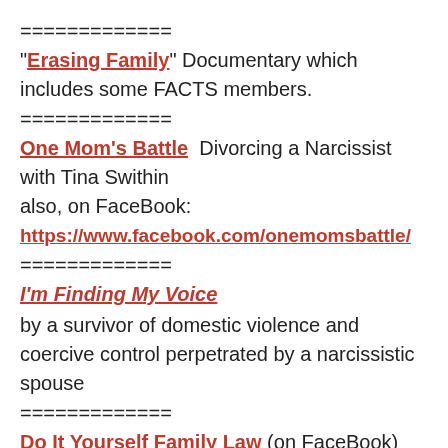=============
“Erasing Family” Documentary which includes some FACTS members.
=============
One Mom’s Battle  Divorcing a Narcissist with Tina Swithin
also, on FaceBook:
https://www.facebook.com/onemomsbattle/
=============
I’m Finding My Voice
by a survivor of domestic violence and coercive control perpetrated by a narcissistic spouse
=============
Do It Yourself Family Law (on FaceBook)
=============
Here is the rehab directory website for domestic violence victims: Rehabs that Help Domestic